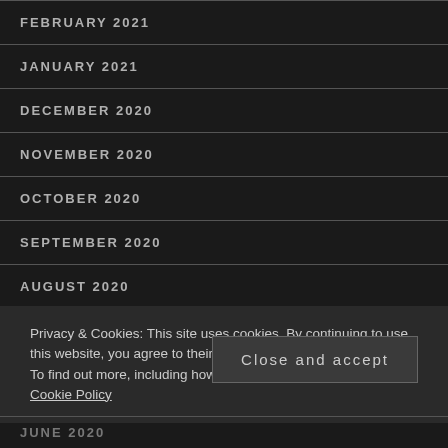FEBRUARY 2021
JANUARY 2021
DECEMBER 2020
NOVEMBER 2020
OCTOBER 2020
SEPTEMBER 2020
AUGUST 2020
Privacy & Cookies: This site uses cookies. By continuing to use this website, you agree to their use. To find out more, including how to control cookies, see here: Cookie Policy
Close and accept
JUNE 2020